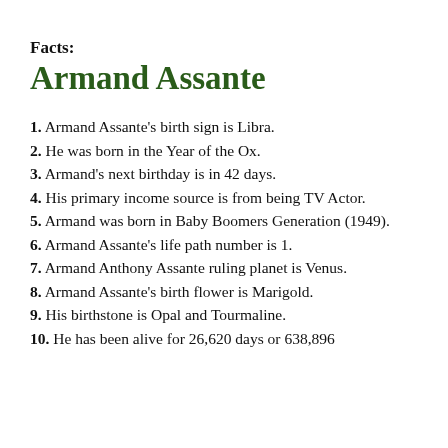Facts:
Armand Assante
1. Armand Assante's birth sign is Libra.
2. He was born in the Year of the Ox.
3. Armand's next birthday is in 42 days.
4. His primary income source is from being TV Actor.
5. Armand was born in Baby Boomers Generation (1949).
6. Armand Assante's life path number is 1.
7. Armand Anthony Assante ruling planet is Venus.
8. Armand Assante's birth flower is Marigold.
9. His birthstone is Opal and Tourmaline.
10. He has been alive for 26,620 days or 638,896